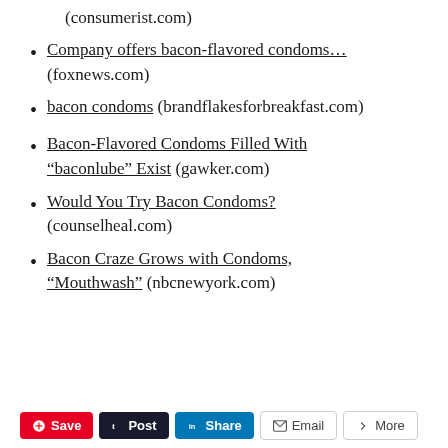(consumerist.com)
Company offers bacon-flavored condoms… (foxnews.com)
bacon condoms (brandflakesforbreakfast.com)
Bacon-Flavored Condoms Filled With “baconlube” Exist (gawker.com)
Would You Try Bacon Condoms? (counselheal.com)
Bacon Craze Grows with Condoms, “Mouthwash” (nbcnewyork.com)
Save  Post  Share  Email  More